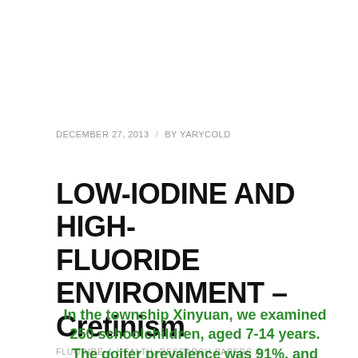DECEMBER 27, 2013  /  BY YARYCOLD
LOW-IODINE AND HIGH-FLUORIDE ENVIRONMENT – Cretinism
FLUORIDE & HEALTH, RESEARCH PAPERS A
In the township Xinyuan, we examined 250 schoolchildren, aged 7-14 years. The goiter prevalence was 91%, and